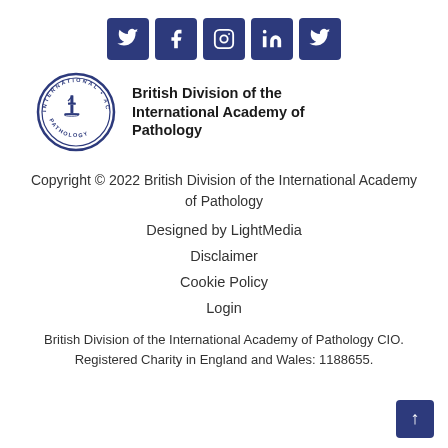[Figure (logo): Row of 5 social media icons (Twitter, Facebook, Instagram, LinkedIn, Twitter) on dark blue square backgrounds]
[Figure (logo): Circular logo of the International Academy of Pathology with microscope imagery, next to the text 'British Division of the International Academy of Pathology']
Copyright © 2022 British Division of the International Academy of Pathology
Designed by LightMedia
Disclaimer
Cookie Policy
Login
British Division of the International Academy of Pathology CIO. Registered Charity in England and Wales: 1188655.